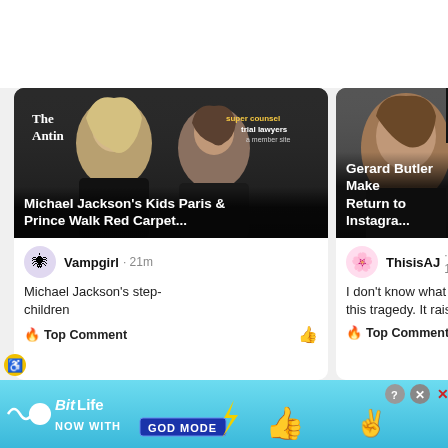[Figure (screenshot): Two-column news article cards. Left card: photo of woman and young man at event with text 'The Antin [...]' and 'trial lawyers'. Title overlay: 'Michael Jackson's Kids Paris & Prince Walk Red Carpet...'. Comment by Vampgirl · 21m: 'Michael Jackson's step-children'. Top Comment label with thumbs up icon. Right card (partially visible): photo of man's face. Title overlay: 'Gerard Butler Make Return to Instagra[m]'. Comment by ThisisAJ · 16h: 'I don't know what to this tragedy. It raises'. Top Comment label.]
[Figure (screenshot): Advertisement banner for BitLife game: sky blue background, logo with squiggle and circle, text 'BitLife NOW WITH GOD MODE' with lightning bolt graphic, pointing hand emoji, scissors hand, close/X buttons top right.]